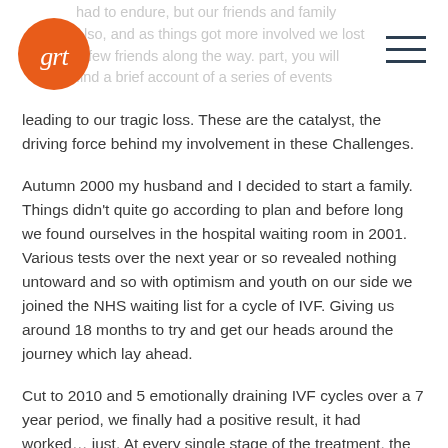grt logo and navigation header
leading to our tragic loss. These are the catalyst, the driving force behind my involvement in these Challenges.
Autumn 2000 my husband and I decided to start a family. Things didn't quite go according to plan and before long we found ourselves in the hospital waiting room in 2001. Various tests over the next year or so revealed nothing untoward and so with optimism and youth on our side we joined the NHS waiting list for a cycle of IVF. Giving us around 18 months to try and get our heads around the journey which lay ahead.
Cut to 2010 and 5 emotionally draining IVF cycles over a 7 year period, we finally had a positive result, it had worked… just. At every single stage of the treatment, the results were borderline; the egg collection only gave us 4 eggs, of these only 2 eggs were graded as